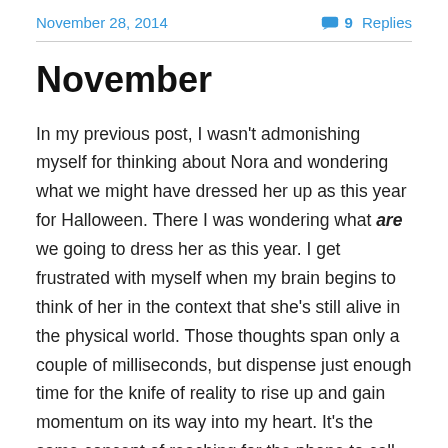November 28, 2014   9 Replies
November
In my previous post, I wasn't admonishing myself for thinking about Nora and wondering what we might have dressed her up as this year for Halloween. There I was wondering what are we going to dress her as this year. I get frustrated with myself when my brain begins to think of her in the context that she's still alive in the physical world. Those thoughts span only a couple of milliseconds, but dispense just enough time for the knife of reality to rise up and gain momentum on its way into my heart. It's the same concept of reaching for the phone to call that special person who has recently passed away. That's just what you've always done. Those neural pathways are rutted